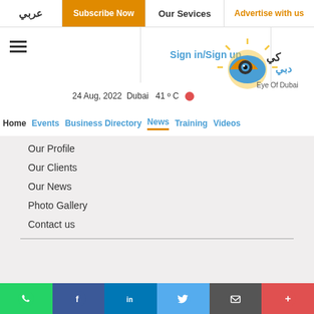عربي | Subscribe Now | Our Services | Advertise with us
[Figure (logo): Eye Of Dubai logo with sun and eye graphic, Arabic text above]
Sign in/Sign up
24 Aug, 2022 Dubai 41 ° C
Home | Events | Business Directory | News | Training | Videos
Our Profile
Our Clients
Our News
Photo Gallery
Contact us
News | Events | Training Courses | Business Directory | Videos | Book Hotels
عربي
[Figure (infographic): Social media icons row: Twitter, Facebook, Instagram, LinkedIn, YouTube, Snapchat]
WhatsApp | Facebook | LinkedIn | Twitter | Email | More share buttons